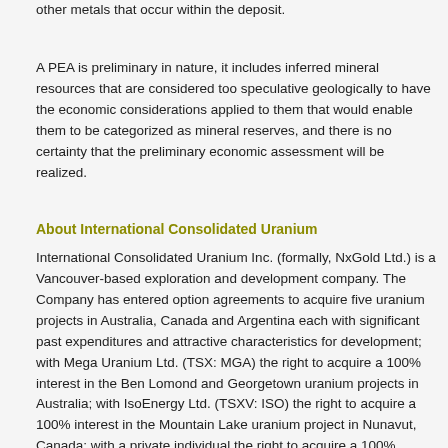other metals that occur within the deposit.
A PEA is preliminary in nature, it includes inferred mineral resources that are considered too speculative geologically to have the economic considerations applied to them that would enable them to be categorized as mineral reserves, and there is no certainty that the preliminary economic assessment will be realized.
About International Consolidated Uranium
International Consolidated Uranium Inc. (formally, NxGold Ltd.) is a Vancouver-based exploration and development company. The Company has entered option agreements to acquire five uranium projects in Australia, Canada and Argentina each with significant past expenditures and attractive characteristics for development; with Mega Uranium Ltd. (TSX: MGA) the right to acquire a 100% interest in the Ben Lomond and Georgetown uranium projects in Australia; with IsoEnergy Ltd. (TSXV: ISO) the right to acquire a 100% interest in the Mountain Lake uranium project in Nunavut, Canada; with a private individual the right to acquire a 100% interest in the Moran Lake uranium